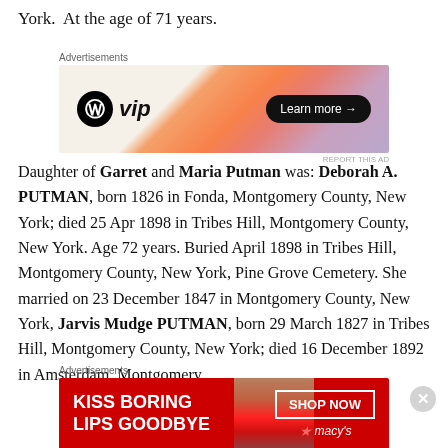York.  At the age of 71 years.
[Figure (other): WordPress VIP advertisement banner with orange gradient background, WordPress logo, 'vip' text, and 'Learn more' button]
Daughter of Garret and Maria Putman was: Deborah A. PUTMAN, born 1826 in Fonda, Montgomery County, New York; died 25 Apr 1898 in Tribes Hill, Montgomery County, New York. Age 72 years. Buried April 1898 in Tribes Hill, Montgomery County, New York, Pine Grove Cemetery. She married on 23 December 1847 in Montgomery County, New York, Jarvis Mudge PUTMAN, born 29 March 1827 in Tribes Hill, Montgomery County, New York; died 16 December 1892 in Amsterdam, Montgomery
[Figure (other): Macy's advertisement banner: 'KISS BORING LIPS GOODBYE' with red lipstick image and 'SHOP NOW' button]